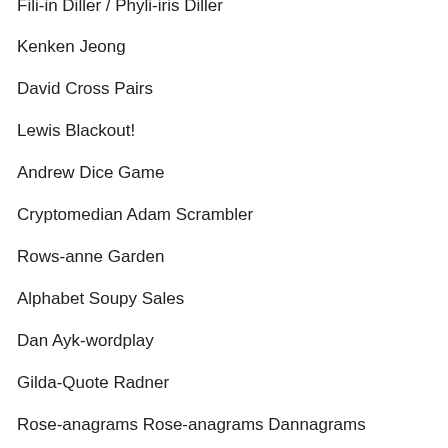Fili-in Diller / Phyli-iris Diller
Kenken Jeong
David Cross Pairs
Lewis Blackout!
Andrew Dice Game
Cryptomedian Adam Scrambler
Rows-anne Garden
Alphabet Soupy Sales
Dan Ayk-wordplay
Gilda-Quote Radner
Rose-anagrams Rose-anagrams Dannagrams